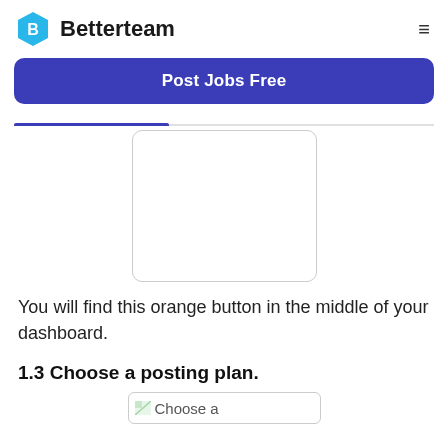Betterteam
[Figure (screenshot): Blue 'Post Jobs Free' button on Betterteam website with navigation tab bar below]
[Figure (screenshot): A white card/panel screenshot partially shown, representing dashboard view]
You will find this orange button in the middle of your dashboard.
1.3 Choose a posting plan.
[Figure (screenshot): Partially visible 'Choose a' screenshot at bottom of page]